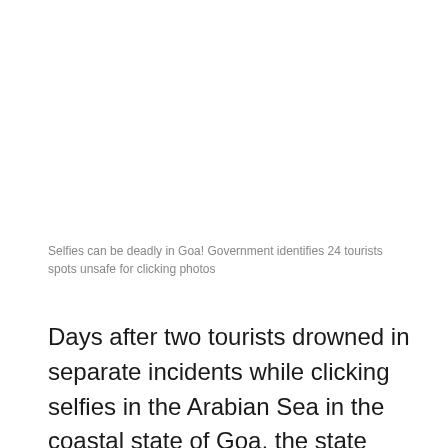Selfies can be deadly in Goa! Government identifies 24 tourists spots unsafe for clicking photos
Days after two tourists drowned in separate incidents while clicking selfies in the Arabian Sea in the coastal state of Goa, the state government has raised alarms by identifying ‘no selfie’ zones at 24 unsafe locations including prominent tourists spots at the start of the offseason. According to a report in The Indian Express, the stern warning against clicking selfies